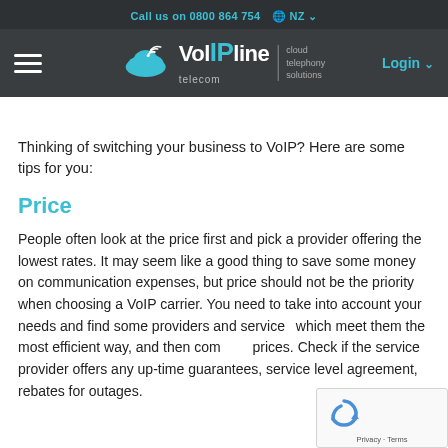Call us on 0800 864 754  🌐 NZ ▾
[Figure (logo): VoIPline Telecom logo with cloud icon and tagline 'cloud telephony solutions', hamburger menu on left, Login button on right]
Thinking of switching your business to VoIP? Here are some tips for you:
Price
People often look at the price first and pick a provider offering the lowest rates. It may seem like a good thing to save some money on communication expenses, but price should not be the priority when choosing a VoIP carrier. You need to take into account your needs and find some providers and services which meet them the most efficient way, and then compare prices. Check if the service provider offers any up-time guarantees, service level agreement, rebates for outages.